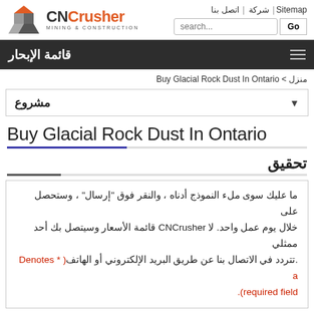CNCrusher MINING & CONSTRUCTION | Sitemap | شركة | اتصل بنا
قائمة الإبحار
منزل > Buy Glacial Rock Dust In Ontario
مشروع
Buy Glacial Rock Dust In Ontario
تحقيق
ما عليك سوى ملء النموذج أدناه ، والنقر فوق "إرسال" ، وستحصل على خلال يوم عمل واحد. لا CNCrusher قائمة الأسعار وسيتصل بك أحد ممثلي .تتردد في الاتصال بنا عن طريق البريد الإلكتروني أو الهاتف( * Denotes a required field).